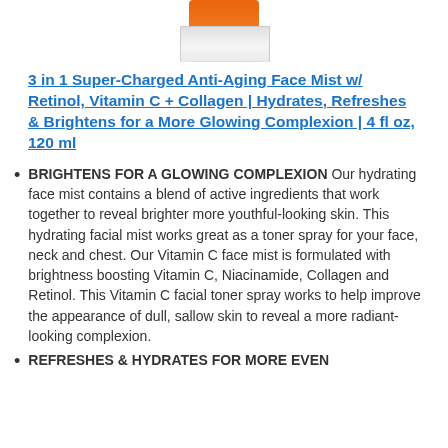[Figure (photo): Partial view of a product bottle (face mist) with orange cap, visible at top of page]
3 in 1 Super-Charged Anti-Aging Face Mist w/ Retinol, Vitamin C + Collagen | Hydrates, Refreshes & Brightens for a More Glowing Complexion | 4 fl oz, 120 ml
BRIGHTENS FOR A GLOWING COMPLEXION Our hydrating face mist contains a blend of active ingredients that work together to reveal brighter more youthful-looking skin. This hydrating facial mist works great as a toner spray for your face, neck and chest. Our Vitamin C face mist is formulated with brightness boosting Vitamin C, Niacinamide, Collagen and Retinol. This Vitamin C facial toner spray works to help improve the appearance of dull, sallow skin to reveal a more radiant-looking complexion.
REFRESHES & HYDRATES FOR MORE EVEN